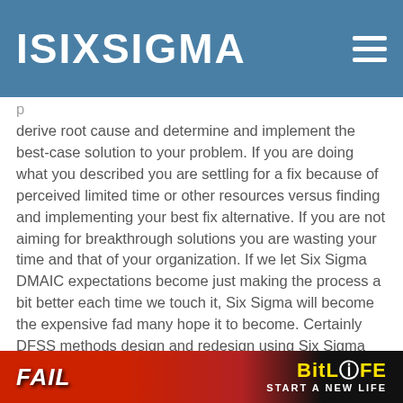ISIXSIGMA
derive root cause and determine and implement the best-case solution to your problem.  If you are doing what you described you are settling for a fix because of perceived limited time or other resources versus finding and implementing your best fix alternative.   If you are not aiming for breakthrough solutions you are wasting your time and that of your organization.    If we let Six Sigma DMAIC expectations become just making the process a bit better each time we touch it, Six Sigma will become the expensive fad many hope it to become.   Certainly DFSS methods design and redesign using Six Sigma analytics but all order of magnitude breakthroughs are not relegated to a complete redesign.   I think that you have seriously missed the point.
Vinny
[Figure (other): Advertisement banner for BitLife game: 'FAIL' text on red/fire background with 'BitLife START A NEW LIFE' on dark background]